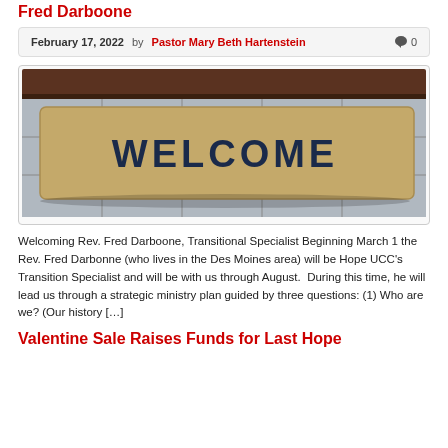Fred Darboone
February 17, 2022   by Pastor Mary Beth Hartenstein  💬 0
[Figure (photo): A rectangular welcome mat with the word WELCOME printed in dark letters on a tan/beige coir fiber surface, placed on tile flooring in front of a dark wooden door.]
Welcoming Rev. Fred Darboone, Transitional Specialist Beginning March 1 the Rev. Fred Darbonne (who lives in the Des Moines area) will be Hope UCC's Transition Specialist and will be with us through August.  During this time, he will lead us through a strategic ministry plan guided by three questions: (1) Who are we? (Our history […]
Valentine Sale Raises Funds for Last Hope